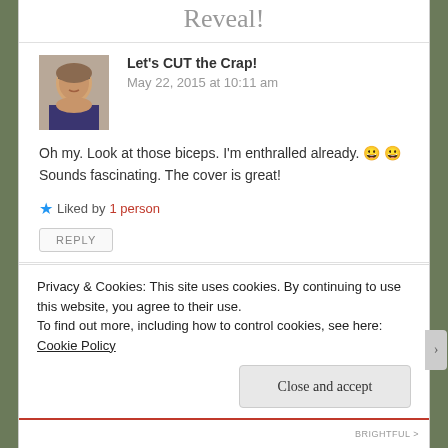Reveal!
[Figure (photo): Profile photo of commenter - woman with glasses]
Let's CUT the Crap!
May 22, 2015 at 10:11 am
Oh my. Look at those biceps. I'm enthralled already. 😀 😀 Sounds fascinating. The cover is great!
⭐ Liked by 1 person
REPLY
Privacy & Cookies: This site uses cookies. By continuing to use this website, you agree to their use.
To find out more, including how to control cookies, see here: Cookie Policy
Close and accept